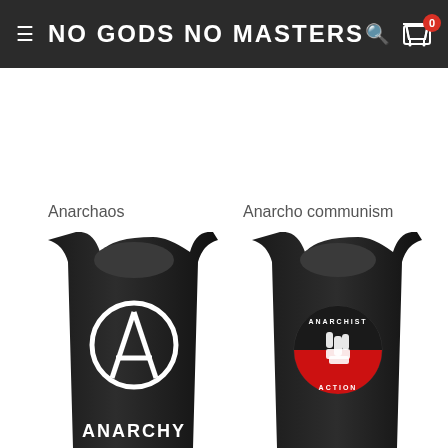NO GODS NO MASTERS
Anarchaos
Anarcho communism
[Figure (photo): Black tank top with white anarchy symbol (circle-A) and ANARCHY text]
[Figure (photo): Black tank top with Anarchist Action circular logo in red and black]